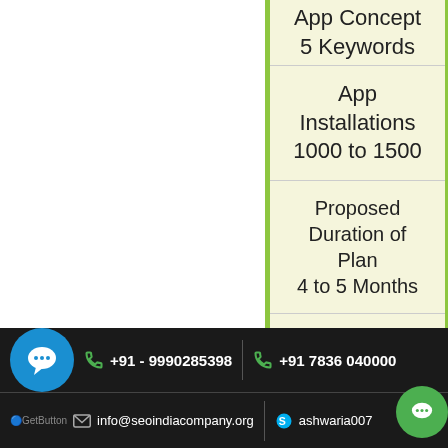App Concept
5 Keywords
App Installations
1000 to 1500
Proposed Duration of Plan
4 to 5 Months
App onpage/onsite optimization
App Store Optimization ✓
+91 - 9990285398  +91 7836 040000  info@seoindiacompany.org  ashwaria007